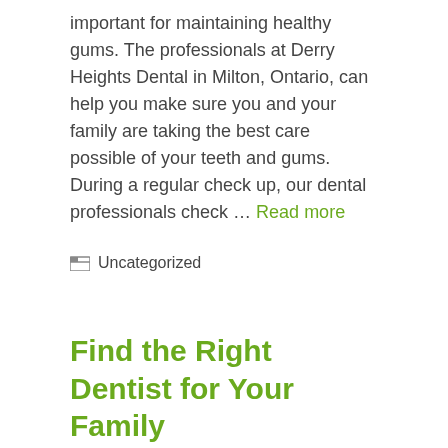important for maintaining healthy gums. The professionals at Derry Heights Dental in Milton, Ontario, can help you make sure you and your family are taking the best care possible of your teeth and gums. During a regular check up, our dental professionals check … Read more
Uncategorized
Find the Right Dentist for Your Family
June 17, 2019 by admin